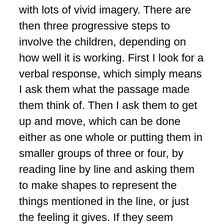with lots of vivid imagery. There are then three progressive steps to involve the children, depending on how well it is working. First I look for a verbal response, which simply means I ask them what the passage made them think of. Then I ask them to get up and move, which can be done either as one whole or putting them in smaller groups of three or four, by reading line by line and asking them to make shapes to represent the things mentioned in the line, or just the feeling it gives. If they seem confident I then distribute the lines to the ones who would like to speak, and they read them out in order, as the shapes made by the other children move around them. By then you usually find you have created a neat little performance.
Because it is set on a fantasy island, I find The Tempest provides lots of useful passages. However, I also love this bit of George's nightmare in Richard III: